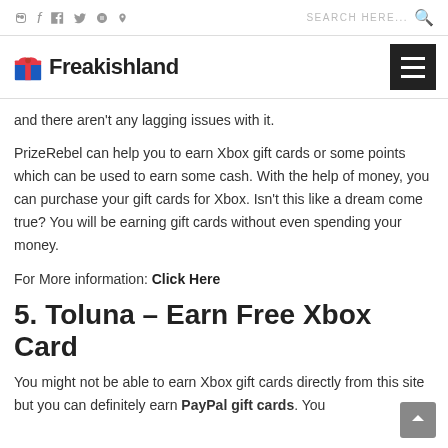f  ig  tw  p    SEARCH HERE...  🔍
Freakishland
and there aren't any lagging issues with it.
PrizeRebel can help you to earn Xbox gift cards or some points which can be used to earn some cash. With the help of money, you can purchase your gift cards for Xbox. Isn't this like a dream come true? You will be earning gift cards without even spending your money.
For More information: Click Here
5. Toluna – Earn Free Xbox Card
You might not be able to earn Xbox gift cards directly from this site but you can definitely earn PayPal gift cards. You